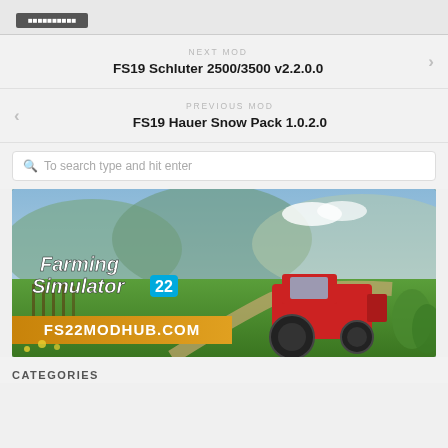[Figure (screenshot): Top bar with a dark button partially visible]
NEXT MOD
FS19 Schluter 2500/3500 v2.2.0.0
PREVIOUS MOD
FS19 Hauer Snow Pack 1.0.2.0
To search type and hit enter
[Figure (illustration): Farming Simulator 22 promotional banner with tractor on farm landscape and FS22MODHUB.COM text]
CATEGORIES